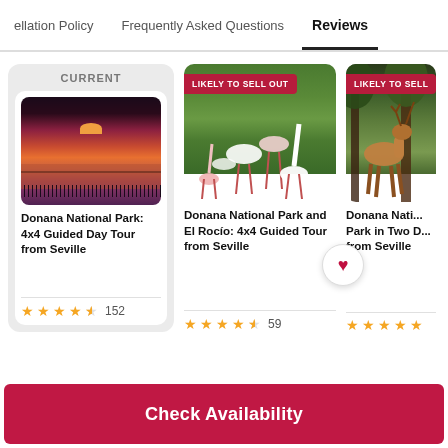cellation Policy   Frequently Asked Questions   Reviews
CURRENT
[Figure (photo): Sunset over Donana National Park with flamingos silhouetted in water, orange and red sky]
Donana National Park: 4x4 Guided Day Tour from Seville
★★★★½  152
[Figure (photo): Flamingos wading in green water, LIKELY TO SELL OUT badge]
Donana National Park and El Rocío: 4x4 Guided Tour from Seville
★★★★½  59
[Figure (photo): Deer in forest, LIKELY TO SELL badge (partially cropped)]
Donana National Park in Two D... from Seville
★★★★★
Check Availability